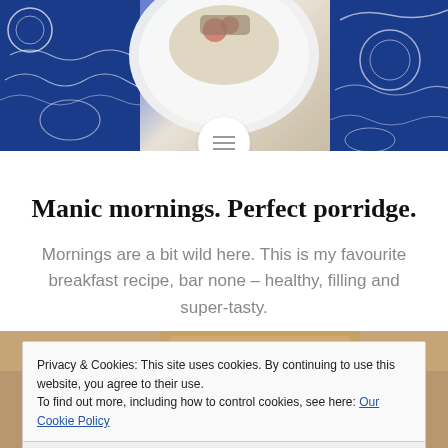[Figure (photo): Top portion of a food blog page showing a decorative blue and white tile pattern with a plate of food (porridge with toppings) visible, and a circular menu button in the center]
Manic mornings. Perfect porridge.
Mornings are a bit wild here. This is my favourite breakfast recipe, bar none – healthy, filling and super-tasty.
[Figure (photo): Bottom portion showing a food photograph on a wooden surface with a cookie consent overlay banner]
Privacy & Cookies: This site uses cookies. By continuing to use this website, you agree to their use.
To find out more, including how to control cookies, see here: Our Cookie Policy
Close and accept